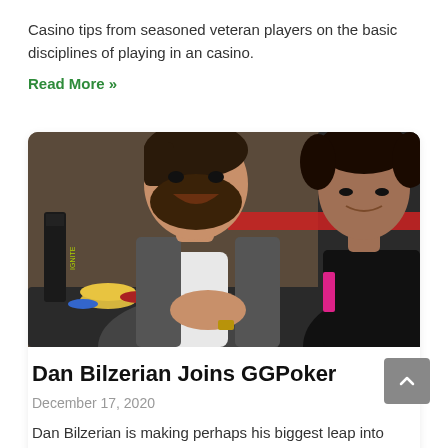Casino tips from seasoned veteran players on the basic disciplines of playing in an casino.
Read More »
[Figure (photo): Two men at a poker table. The man on the left has a beard and is wearing a grey vest over a white t-shirt, laughing. The man on the right is younger, wearing a black t-shirt, looking down. Poker chips and an Ignite drink bottle are visible on the table.]
Dan Bilzerian Joins GGPoker
December 17, 2020
Dan Bilzerian is making perhaps his biggest leap into poker in quite a while. The so-called 'King of Instagram' has joined GGPoker as a brand ambassador.